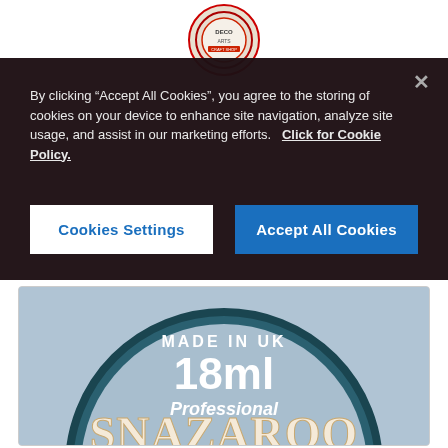[Figure (logo): Circular logo with decorative border at top of page]
By clicking “Accept All Cookies”, you agree to the storing of cookies on your device to enhance site navigation, analyze site usage, and assist in our marketing efforts.   Click for Cookie Policy.
Cookies Settings
Accept All Cookies
[Figure (photo): Close-up of a Snazaroo professional face paint tin lid showing 'MADE IN UK', '18ml', 'Professional', 'SNAZAROO' text on a blue/grey background with teal rim]